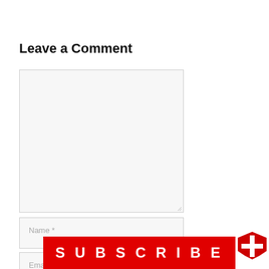Leave a Comment
[Figure (screenshot): Comment form with textarea, Name field, and Email field]
[Figure (other): Red SUBSCRIBE banner with shield/cross logo icon overlay]